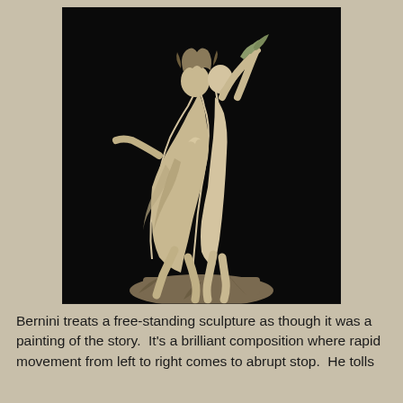[Figure (photo): Bernini's marble sculpture of Apollo and Daphne (or similar Baroque sculpture), showing two dynamic figures mid-motion against a dark background. The white marble figures display dramatic movement — one figure reaching upward with arms outstretched, the other in pursuit. The sculpture sits on a base with foliage details at the bottom.]
Bernini treats a free-standing sculpture as though it was a painting of the story.  It's a brilliant composition where rapid movement from left to right comes to abrupt stop.  He tolls